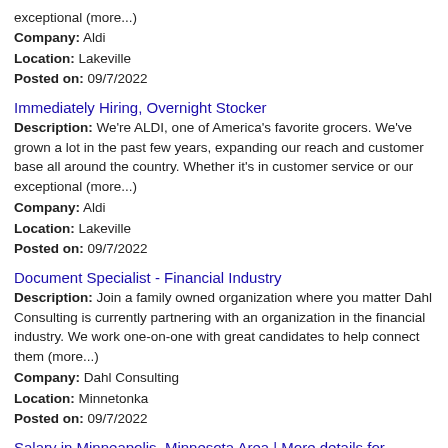exceptional (more...)
Company: Aldi
Location: Lakeville
Posted on: 09/7/2022
Immediately Hiring, Overnight Stocker
Description: We're ALDI, one of America's favorite grocers. We've grown a lot in the past few years, expanding our reach and customer base all around the country. Whether it's in customer service or our exceptional (more...)
Company: Aldi
Location: Lakeville
Posted on: 09/7/2022
Document Specialist - Financial Industry
Description: Join a family owned organization where you matter Dahl Consulting is currently partnering with an organization in the financial industry. We work one-on-one with great candidates to help connect them (more...)
Company: Dahl Consulting
Location: Minnetonka
Posted on: 09/7/2022
Salary in Minneapolis, Minnesota Area | More details for